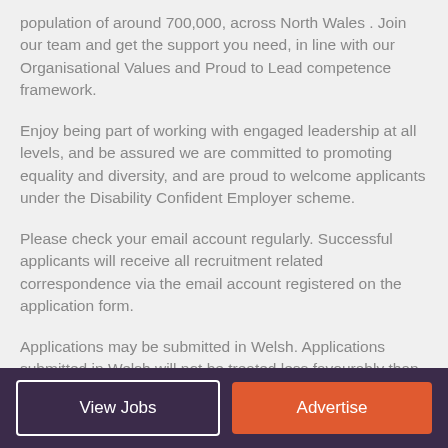population of around 700,000, across North Wales . Join our team and get the support you need, in line with our Organisational Values and Proud to Lead competence framework.
Enjoy being part of working with engaged leadership at all levels, and be assured we are committed to promoting equality and diversity, and are proud to welcome applicants under the Disability Confident Employer scheme.
Please check your email account regularly. Successful applicants will receive all recruitment related correspondence via the email account registered on the application form.
Applications may be submitted in Welsh. Applications submitted in Welsh will not be treated less favourably than an application submitted in English.
View Jobs | Advertise